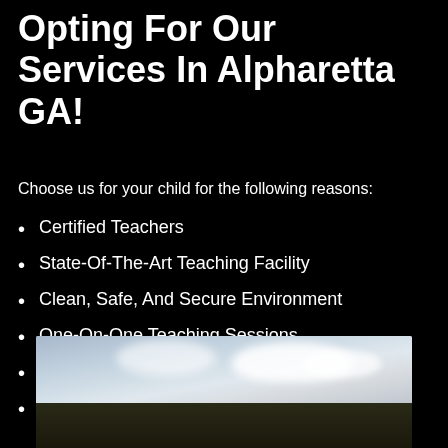Opting For Our Services In Alpharetta GA!
Choose us for your child for the following reasons:
Certified Teachers
State-Of-The-Art Teaching Facility
Clean, Safe, And Secure Environment
One-On-One Teaching Sessions
Nurture The Individuality Of Each Child
Making Them Self-Confident
[Figure (photo): Outdoor photo showing sky with clouds and trees/landscape at the bottom, light blue sky with white clouds visible]